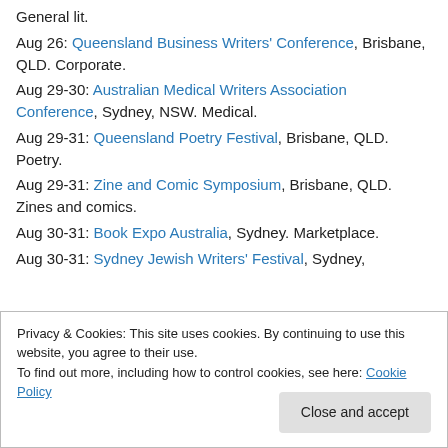General lit.
Aug 26: Queensland Business Writers' Conference, Brisbane, QLD. Corporate.
Aug 29-30: Australian Medical Writers Association Conference, Sydney, NSW. Medical.
Aug 29-31: Queensland Poetry Festival, Brisbane, QLD. Poetry.
Aug 29-31: Zine and Comic Symposium, Brisbane, QLD. Zines and comics.
Aug 30-31: Book Expo Australia, Sydney. Marketplace.
Aug 30-31: Sydney Jewish Writers' Festival, Sydney,
Privacy & Cookies: This site uses cookies. By continuing to use this website, you agree to their use. To find out more, including how to control cookies, see here: Cookie Policy